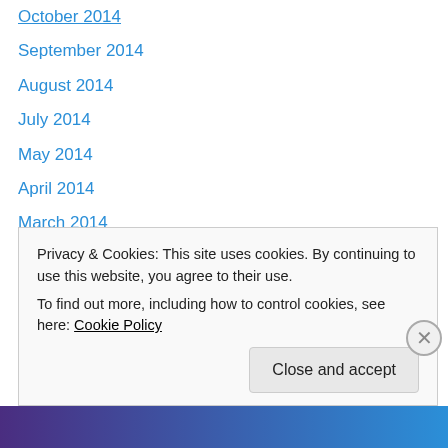October 2014
September 2014
August 2014
July 2014
May 2014
April 2014
March 2014
February 2014
January 2014
December 2013
November 2013
October 2013
September 2013
Privacy & Cookies: This site uses cookies. By continuing to use this website, you agree to their use.
To find out more, including how to control cookies, see here: Cookie Policy
Close and accept